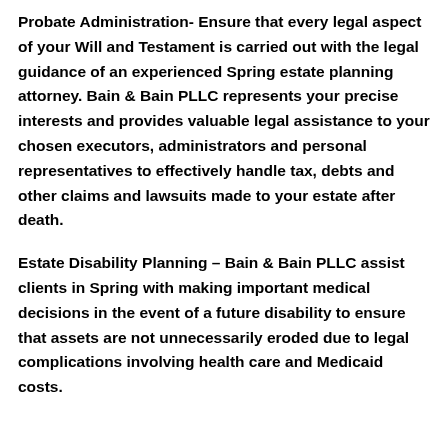Probate Administration- Ensure that every legal aspect of your Will and Testament is carried out with the legal guidance of an experienced Spring estate planning attorney. Bain & Bain PLLC represents your precise interests and provides valuable legal assistance to your chosen executors, administrators and personal representatives to effectively handle tax, debts and other claims and lawsuits made to your estate after death.
Estate Disability Planning – Bain & Bain PLLC assist clients in Spring with making important medical decisions in the event of a future disability to ensure that assets are not unnecessarily eroded due to legal complications involving health care and Medicaid costs.